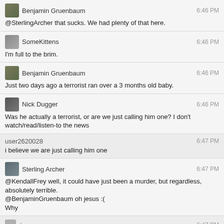Benjamin Gruenbaum 6:46 PM
@SterlingArcher that sucks. We had plenty of that here.
SomeKittens 6:46 PM
I'm full to the brim.
Benjamin Gruenbaum 6:46 PM
Just two days ago a terrorist ran over a 3 months old baby.
Nick Dugger 6:46 PM
Was he actually a terrorist, or are we just calling him one? I don't watch/read/listen-to the news
user2620028 6:47 PM
i believe we are just calling him one
Sterling Archer 6:47 PM
@KendallFrey well, it could have just been a murder, but regardless, absolutely terrible.
@BenjaminGruenbaum oh jesus :(
Why
towc 6:47 PM
I haz a question
Sterling Archer 6:47 PM
It's a fucking baby. Wtf did a baby do..